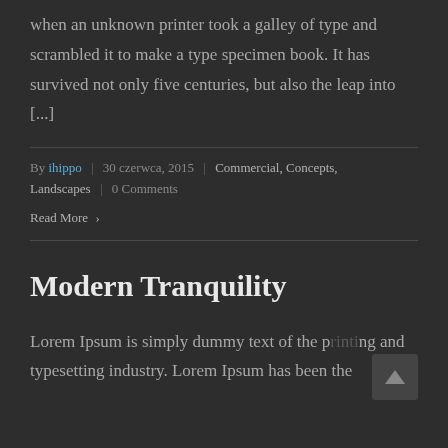when an unknown printer took a galley of type and scrambled it to make a type specimen book. It has survived not only five centuries, but also the leap into [...]
By ihippo | 30 czerwca, 2015 | Commercial, Concepts, Landscapes | 0 Comments
Read More ›
Modern Tranquility
Lorem Ipsum is simply dummy text of the printing and typesetting industry. Lorem Ipsum has been the